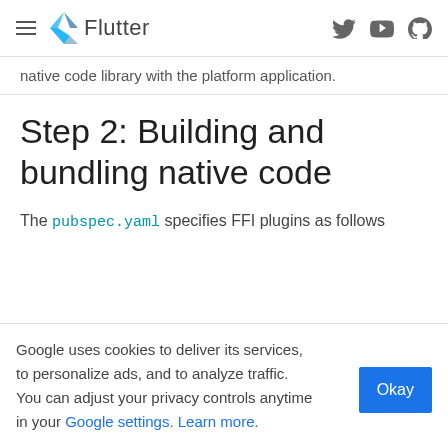Flutter
native code library with the platform application.
Step 2: Building and bundling native code
The pubspec.yaml specifies FFI plugins as follows
Google uses cookies to deliver its services, to personalize ads, and to analyze traffic. You can adjust your privacy controls anytime in your Google settings. Learn more.